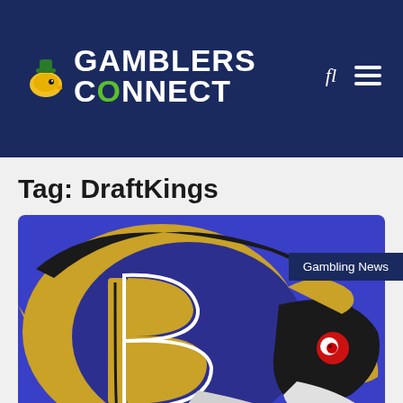Gamblers Connect
Tag: DraftKings
[Figure (photo): Baltimore Ravens NFL team logo showing a raven head with stylized B letter in gold and purple colors]
Gambling News